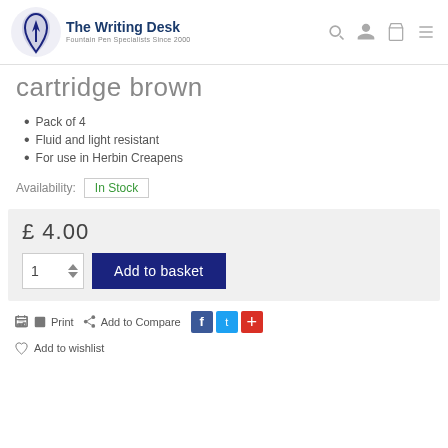The Writing Desk — Fountain Pen Specialists Since 2000
cartridge brown
Pack of 4
Fluid and light resistant
For use in Herbin Creapens
Availability: In Stock
£ 4.00
1  Add to basket
Print  Add to Compare
Add to wishlist